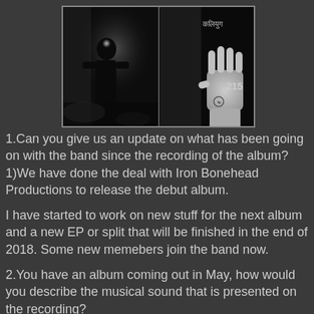[Figure (photo): Two side-by-side black and white photos. Left: a dark silhouetted figure standing against a misty/smoky background with a light behind the head. Right: a hand raised palm-outward with text in Devanagari script and the number 215 visible.]
1.Can you give us an update on what has been going on with the band since the recording of the album?
1)We have done the deal with Iron Bonehead Productions to release the debut album.
I have started to work on new stuff for the next album and a new EP or split that will be finished in the end of 2018. Some new memebers join the band now.
2.You have an album coming out in May, how would you describe the musical sound that is presented on the recording?
The musical sound is funeral doom with some influences of